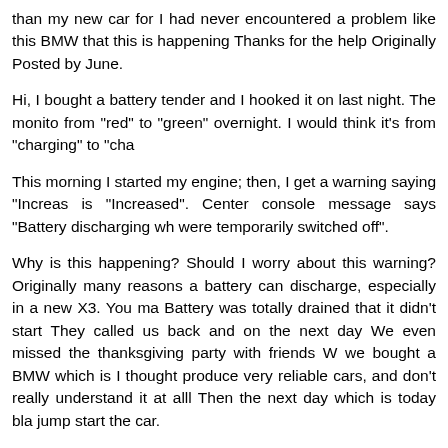than my new car for I had never encountered a problem like this BMW that this is happening Thanks for the help Originally Posted by June.
Hi, I bought a battery tender and I hooked it on last night. The monitor from "red" to "green" overnight. I would think it's from "charging" to "cha...
This morning I started my engine; then, I get a warning saying "Increas... is "Increased". Center console message says "Battery discharging wh... were temporarily switched off".
Why is this happening? Should I worry about this warning? Originally... many reasons a battery can discharge, especially in a new X3. You ma... Battery was totally drained that it didn't start They called us back and on the next day We even missed the thanksgiving party with friends W... we bought a BMW which is I thought produce very reliable cars, and don't really understand it at alll Then the next day which is today bla... jump start the car.
I told them I left the ipod plugged in the center console, then they said th... mean to say that if you left you Ipod plugged in the car, it will totally d...